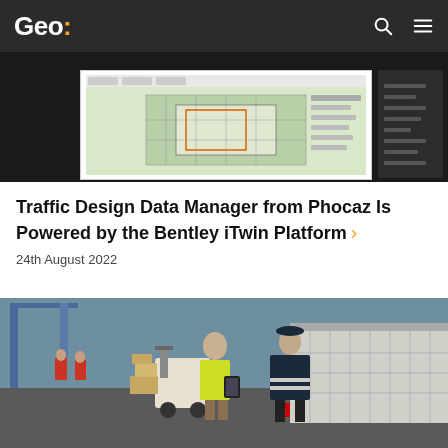Geo:
[Figure (screenshot): Screenshot of a traffic design software showing a CAD/map layout with panels on the right side, displayed on a dark background]
Traffic Design Data Manager from Phocaz Is Powered by the Bentley iTwin Platform
24th August 2022
[Figure (photo): Two workers at a shipping/logistics yard — one wearing a high-visibility vest holding a tablet, the other in dark clothing with a cap, with a forklift and large truck visible in the background]